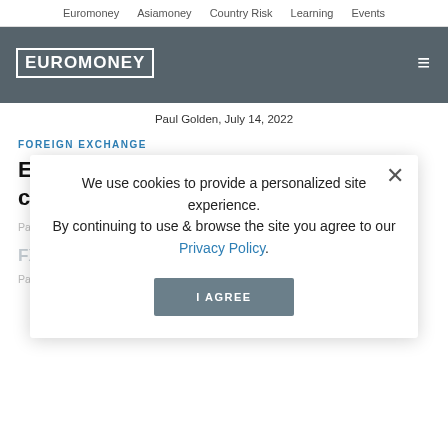Euromoney   Asiamoney   Country Risk   Learning   Events
[Figure (logo): Euromoney logo in white text with white border box on dark grey background, with hamburger menu icon on right]
Paul Golden, July 14, 2022
FOREIGN EXCHANGE
Early rate hikes a boost to LatAm currencies
Paul Golden, June 30, 2022
FX Survey 2022: Foreign exchange holds steady
Paul Golden, June 1, 2022
We use cookies to provide a personalized site experience.
By continuing to use & browse the site you agree to our Privacy Policy.